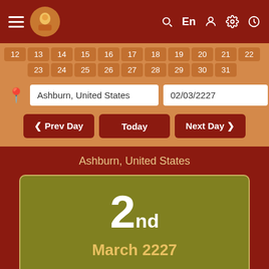≡  En  [user icon]  [settings icon]  [clock icon]
[Figure (screenshot): App header with hamburger menu, logo, search, language selector En, user, settings, and clock icons on dark red background]
| 12 | 13 | 14 | 15 | 16 | 17 | 18 | 19 | 20 | 21 | 22 |
| 23 | 24 | 25 | 26 | 27 | 28 | 29 | 30 | 31 |  |  |
Ashburn, United States    02/03/2227
❮ Prev Day    Today    Next Day ❯
Ashburn, United States
2nd
March 2227
Friday / శుక్రవారం